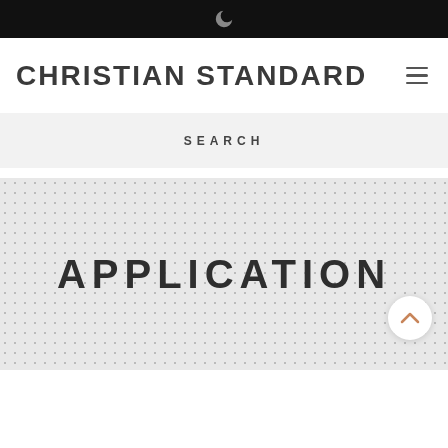CHRISTIAN STANDARD
SEARCH
APPLICATION